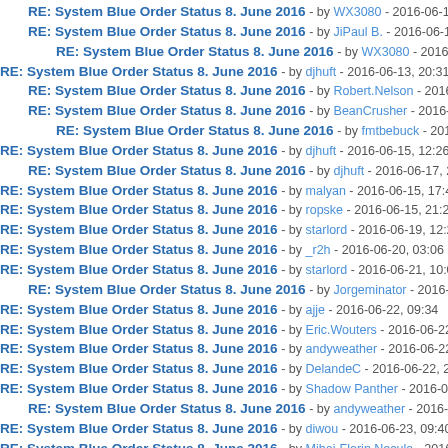RE: System Blue Order Status 8. June 2016 - by WX3080 - 2016-06-11, 1...
RE: System Blue Order Status 8. June 2016 - by JiPaul B. - 2016-06-12, 13...
RE: System Blue Order Status 8. June 2016 - by WX3080 - 2016-06-12,...
RE: System Blue Order Status 8. June 2016 - by djhuft - 2016-06-13, 20:31
RE: System Blue Order Status 8. June 2016 - by Robert.Nelson - 2016-06-...
RE: System Blue Order Status 8. June 2016 - by BeanCrusher - 2016-06-1...
RE: System Blue Order Status 8. June 2016 - by fmtbebuck - 2016-06-14...
RE: System Blue Order Status 8. June 2016 - by djhuft - 2016-06-15, 12:26
RE: System Blue Order Status 8. June 2016 - by djhuft - 2016-06-17, 23:58
RE: System Blue Order Status 8. June 2016 - by malyan - 2016-06-15, 17:43
RE: System Blue Order Status 8. June 2016 - by ropske - 2016-06-15, 21:29
RE: System Blue Order Status 8. June 2016 - by starlord - 2016-06-19, 12:21
RE: System Blue Order Status 8. June 2016 - by _r2h - 2016-06-20, 03:06
RE: System Blue Order Status 8. June 2016 - by starlord - 2016-06-21, 10:03
RE: System Blue Order Status 8. June 2016 - by Jorgeminator - 2016-06-2...
RE: System Blue Order Status 8. June 2016 - by ajje - 2016-06-22, 09:34
RE: System Blue Order Status 8. June 2016 - by Eric.Wouters - 2016-06-22, 1...
RE: System Blue Order Status 8. June 2016 - by andyweather - 2016-06-22, 1...
RE: System Blue Order Status 8. June 2016 - by DelandeC - 2016-06-22, 21:...
RE: System Blue Order Status 8. June 2016 - by Shadow Panther - 2016-06-2...
RE: System Blue Order Status 8. June 2016 - by andyweather - 2016-06-23...
RE: System Blue Order Status 8. June 2016 - by diwou - 2016-06-23, 09:40
RE: System Blue Order Status 8. June 2016 - by Mihai-Florin.Necula - 2016-0...
RE: System Blue Order Status 8. June 2016 - by JohnM70 - 2016-06-23, 11:1...
RE: System Blue Order Status 8. June 2016 - by Max_Headroom - 2016-06-...